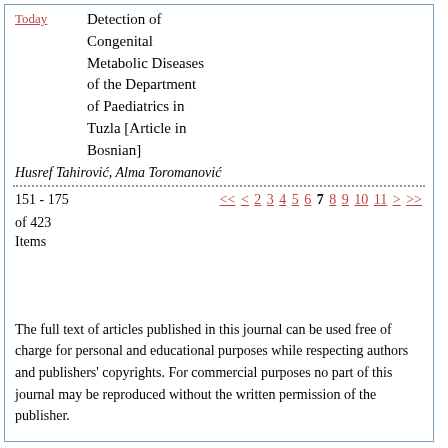Today
Detection of Congenital Metabolic Diseases of the Department of Paediatrics in Tuzla [Article in Bosnian]
Husref Tahirović, Alma Toromanović
151 - 175
of 423
Items
<< < 2 3 4 5 6 7 8 9 10 11 > >>
The full text of articles published in this journal can be used free of charge for personal and educational purposes while respecting authors and publishers' copyrights. For commercial purposes no part of this journal may be reproduced without the written permission of the publisher.